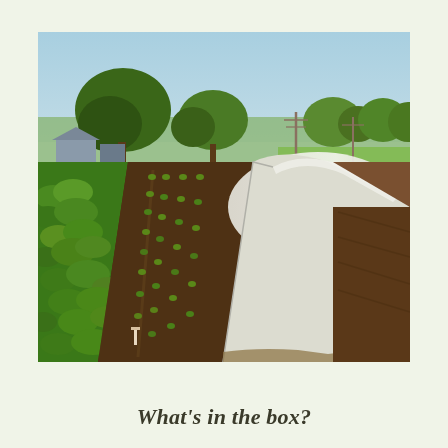[Figure (photo): Farm field photograph showing vegetable rows on the left with leafy green plants, dark tilled soil with seedling rows in the center, and a large white row cover tunnel on the right. Trees and farm buildings visible in the background under a clear sky.]
What's in the box?